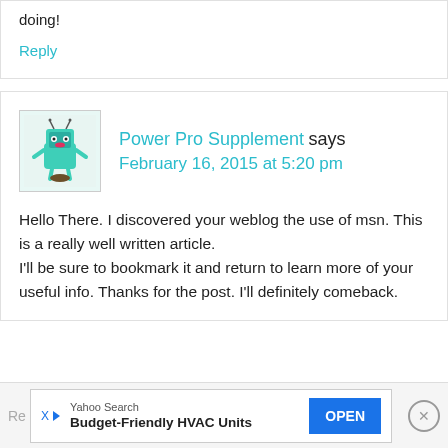doing!
Reply
Power Pro Supplement says
February 16, 2015 at 5:20 pm
Hello There. I discovered your weblog the use of msn. This is a really well written article.
I'll be sure to bookmark it and return to learn more of your
useful info. Thanks for the post. I'll definitely comeback.
[Figure (illustration): Robot/alien avatar icon with teal body, antennae, and red lips on light background]
Yahoo Search
Budget-Friendly HVAC Units  OPEN